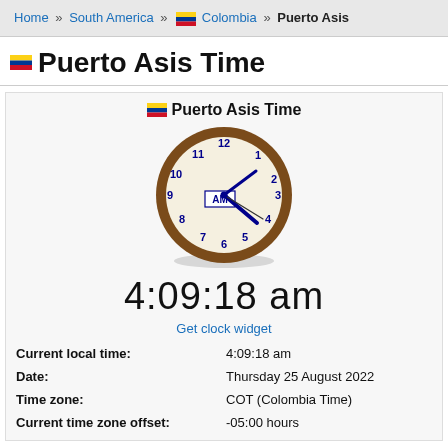Home » South America » Colombia » Puerto Asis
Puerto Asis Time
[Figure (illustration): Analog clock face showing 4:09 AM with brown outer ring, cream face, blue numerals 1-12, blue hour and minute hands pointing to approximately 4:09, and a small box in the center labeled AM]
4:09:18 am
Get clock widget
| Current local time: | 4:09:18 am |
| Date: | Thursday 25 August 2022 |
| Time zone: | COT (Colombia Time) |
| Current time zone offset: | -05:00 hours |